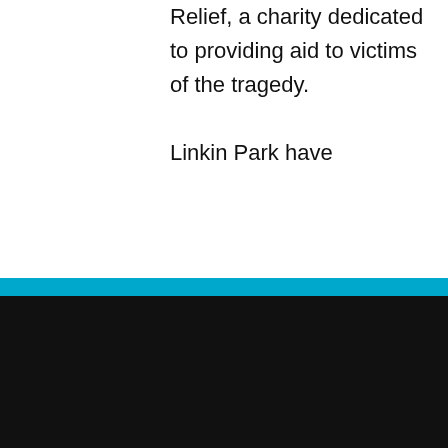Relief, a charity dedicated to providing aid to victims of the tragedy.

Linkin Park have
COOKIE NOTICE
We utilize cookie technology to collect data regarding the number of visits a person has made to our site. This data is stored in aggregate form and is in no way singled out in an individual file. This information allows us to know what pages/sites are of interest to our users and what pages/sites may be of less interest. See more